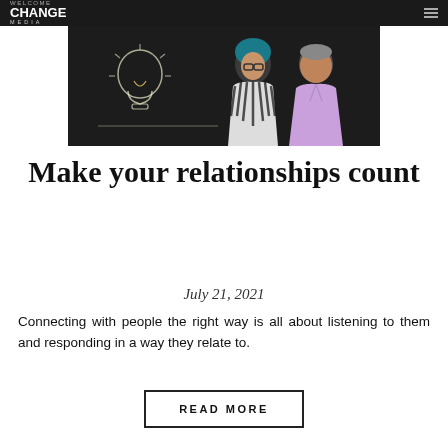Welcome Change Media
[Figure (photo): Two people standing in front of a dark chalkboard background with a drawn lightbulb. Woman on left has blue hair and zebra-print top; man on right wears a lavender shirt.]
Make your relationships count
July 21, 2021
Connecting with people the right way is all about listening to them and responding in a way they relate to.
READ MORE